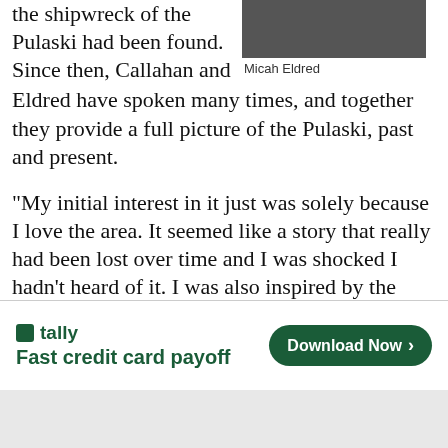the shipwreck of the Pulaski had been found. Since then, Callahan and Eldred have spoken many times, and together they provide a full picture of the Pulaski, past and present.
Micah Eldred
[Figure (photo): Photo of Micah Eldred, a man in a dark suit with white shirt]
“My initial interest in it just was solely because I love the area. It seemed like a story that really had been lost over time and I was shocked I hadn’t heard of it. I was also inspired by the Pulaski tales of survival, how the city of Savannah was part of this story, and how the Lowcountry was affected by this tragedy,” said Callahan.
[Figure (screenshot): Advertisement banner for Tally app — Fast credit card payoff — with Download Now button]